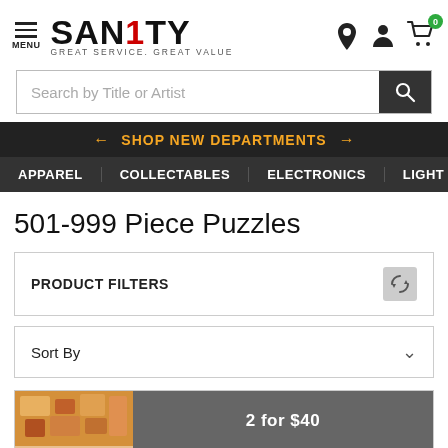[Figure (logo): Sanity logo with tagline GREAT SERVICE. GREAT VALUE]
Search by Title or Artist
← SHOP NEW DEPARTMENTS →
APPAREL   COLLECTABLES   ELECTRONICS   LIGHT
501-999 Piece Puzzles
PRODUCT FILTERS
Sort By
2 for $40